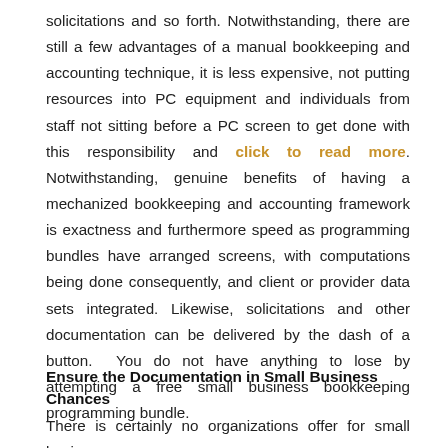solicitations and so forth. Notwithstanding, there are still a few advantages of a manual bookkeeping and accounting technique, it is less expensive, not putting resources into PC equipment and individuals from staff not sitting before a PC screen to get done with this responsibility and click to read more. Notwithstanding, genuine benefits of having a mechanized bookkeeping and accounting framework is exactness and furthermore speed as programming bundles have arranged screens, with computations being done consequently, and client or provider data sets integrated. Likewise, solicitations and other documentation can be delivered by the dash of a button.  You do not have anything to lose by attempting a free small business bookkeeping programming bundle.
Ensure the Documentation in Small Business Chances
There is certainly no organizations offer for small business